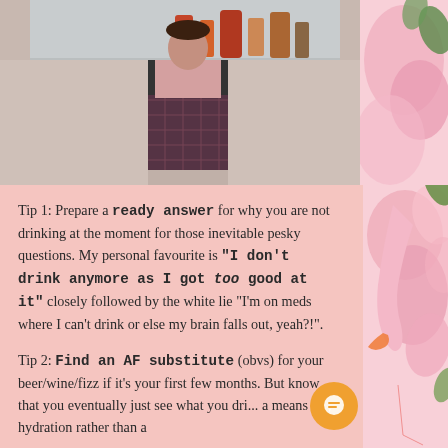[Figure (photo): Photo showing a person in plaid pants standing near a shelf with bottles and decorative items. Right side has pink flamingo decorative background.]
Tip 1: Prepare a ready answer for why you are not drinking at the moment for those inevitable pesky questions. My personal favourite is "I don't drink anymore as I got too good at it" closely followed by the white lie "I'm on meds where I can't drink or else my brain falls out, yeah?!".
Tip 2: Find an AF substitute (obvs) for your beer/wine/fizz if it's your first few months. But know that you eventually just see what you dri... a means to hydration rather than a